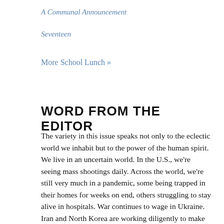A Communal Announcement
Seventeen
More School Lunch »
WORD FROM THE EDITOR
The variety in this issue speaks not only to the eclectic world we inhabit but to the power of the human spirit. We live in an uncertain world. In the U.S., we're seeing mass shootings daily. Across the world, we're still very much in a pandemic, some being trapped in their homes for weeks on end, others struggling to stay alive in hospitals. War continues to wage in Ukraine. Iran and North Korea are working diligently to make nuclear weapons. The list goes on. Still, we have artists who are willing and able to be vulnerable with one another, to